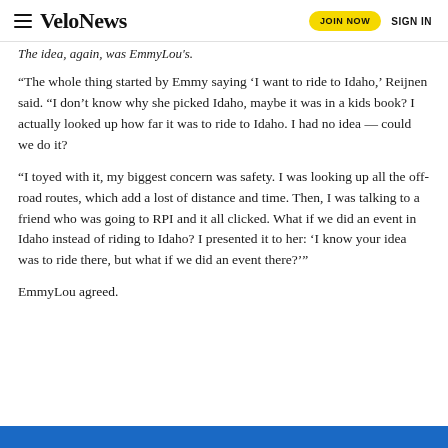VeloNews | JOIN NOW | SIGN IN
The idea, again, was EmmyLou's.
“The whole thing started by Emmy saying ‘I want to ride to Idaho,’ Reijnen said. “I don’t know why she picked Idaho, maybe it was in a kids book? I actually looked up how far it was to ride to Idaho. I had no idea — could we do it?
“I toyed with it, my biggest concern was safety. I was looking up all the off-road routes, which add a lost of distance and time. Then, I was talking to a friend who was going to RPI and it all clicked. What if we did an event in Idaho instead of riding to Idaho? I presented it to her: ‘I know your idea was to ride there, but what if we did an event there?’”
EmmyLou agreed.